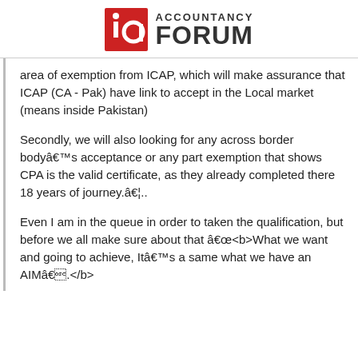ACCOUNTANCY FORUM
area of exemption from ICAP, which will make assurance that ICAP (CA - Pak) have link to accept in the Local market (means inside Pakistan)
Secondly, we will also looking for any across border bodyâs acceptance or any part exemption that shows CPA is the valid certificate, as they already completed there 18 years of journey.â¦..
Even I am in the queue in order to taken the qualification, but before we all make sure about that â<b>What we want and going to achieve, Itâs a same what we have an AIMâ.</b>